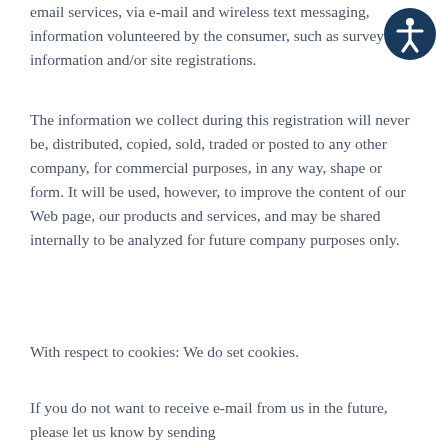email services, via e-mail and wireless text messaging, information volunteered by the consumer, such as survey information and/or site registrations.
The information we collect during this registration will never be, distributed, copied, sold, traded or posted to any other company, for commercial purposes, in any way, shape or form. It will be used, however, to improve the content of our Web page, our products and services, and may be shared internally to be analyzed for future company purposes only.
With respect to cookies: We do set cookies.
If you do not want to receive e-mail from us in the future, please let us know by sending